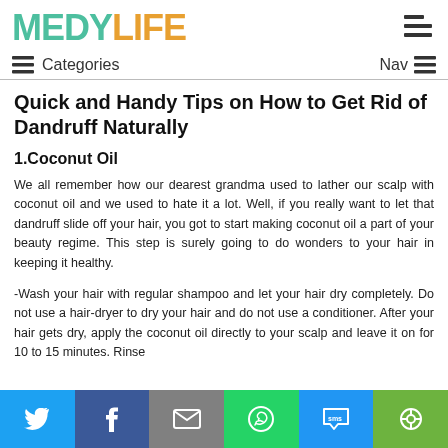MEDYLIFE
Categories | Nav
Quick and Handy Tips on How to Get Rid of Dandruff Naturally
1.Coconut Oil
We all remember how our dearest grandma used to lather our scalp with coconut oil and we used to hate it a lot. Well, if you really want to let that dandruff slide off your hair, you got to start making coconut oil a part of your beauty regime. This step is surely going to do wonders to your hair in keeping it healthy.
-Wash your hair with regular shampoo and let your hair dry completely. Do not use a hair-dryer to dry your hair and do not use a conditioner. After your hair gets dry, apply the coconut oil directly to your scalp and leave it on for 10 to 15 minutes. Rinse